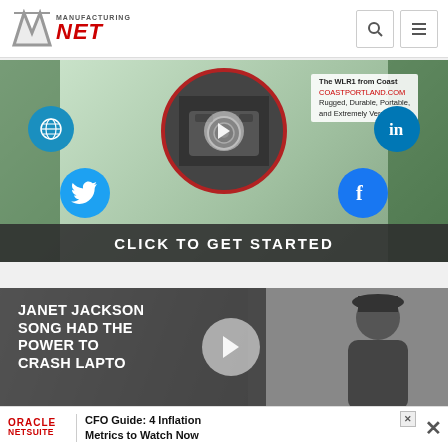Manufacturing.net navigation header with logo, search icon, and menu icon
[Figure (infographic): Coast WLR1 product advertisement with social media icons (globe, Twitter, LinkedIn, Facebook), a camera product image in a red circle border, play button overlay, and 'CLICK TO GET STARTED' call-to-action bar at bottom]
[Figure (screenshot): Article thumbnail with dark overlay showing headline 'JANET JACKSON SONG HAD THE POWER TO CRASH LAPTO' with play button, and person image on right side]
[Figure (infographic): Oracle NetSuite advertisement banner: 'CFO Guide: 4 Inflation Metrics to Watch Now' with close X button]